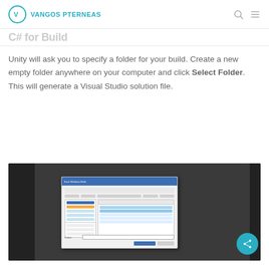VANGOS PTERNEAS
C# for Build
Unity will ask you to specify a folder for your build. Create a new empty folder anywhere on your computer and click Select Folder. This will generate a Visual Studio solution file.
[Figure (screenshot): Screenshot of Unity editor with a Windows 'Select Build Location' file browser dialog open, showing folders and a highlighted 'Assets' folder, with a 'Select Folder' button at the bottom.]